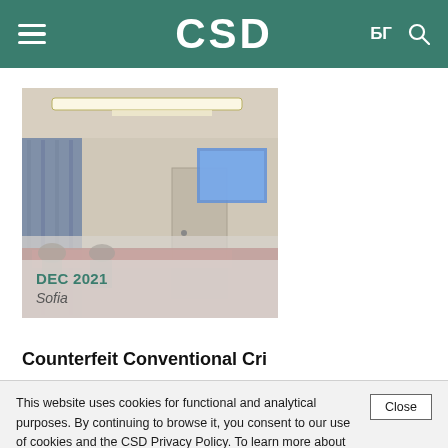CSD — БГ [search]
[Figure (photo): Conference room photo with people seated at tables, presentation screen visible, fluorescent lights on ceiling. Overlay shows DEC 2021 / Sofia.]
DEC 2021
Sofia
This website uses cookies for functional and analytical purposes. By continuing to browse it, you consent to our use of cookies and the CSD Privacy Policy. To learn more about cookies, incl. how to disable them. View our Cookie Policy.
I agree
Deactivate cookies